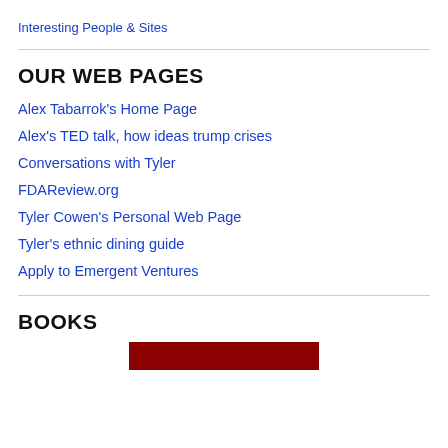Interesting People & Sites
OUR WEB PAGES
Alex Tabarrok's Home Page
Alex's TED talk, how ideas trump crises
Conversations with Tyler
FDAReview.org
Tyler Cowen's Personal Web Page
Tyler's ethnic dining guide
Apply to Emergent Ventures
BOOKS
[Figure (photo): Dark red/maroon book cover image, partially visible at bottom of page]